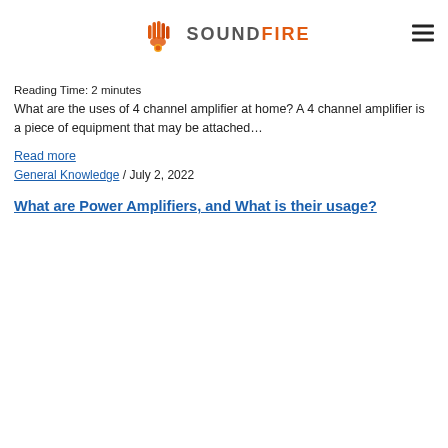SOUNDFIRE
Reading Time: 2 minutes
What are the uses of 4 channel amplifier at home? A 4 channel amplifier is a piece of equipment that may be attached…
Read more
General Knowledge / July 2, 2022
What are Power Amplifiers, and What is their usage?